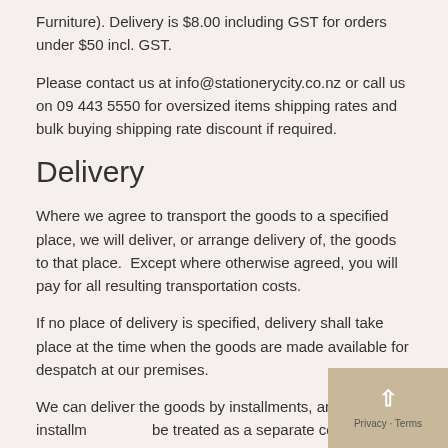Furniture). Delivery is $8.00 including GST for orders under $50 incl. GST.
Please contact us at info@stationerycity.co.nz or call us on 09 443 5550 for oversized items shipping rates and bulk buying shipping rate discount if required.
Delivery
Where we agree to transport the goods to a specified place, we will deliver, or arrange delivery of, the goods to that place.  Except where otherwise agreed, you will pay for all resulting transportation costs.
If no place of delivery is specified, delivery shall take place at the time when the goods are made available for despatch at our premises.
We can deliver the goods by installments, and each installm be treated as a separate contract.
Any time stated for delivery is an estimate only. No claim shall be